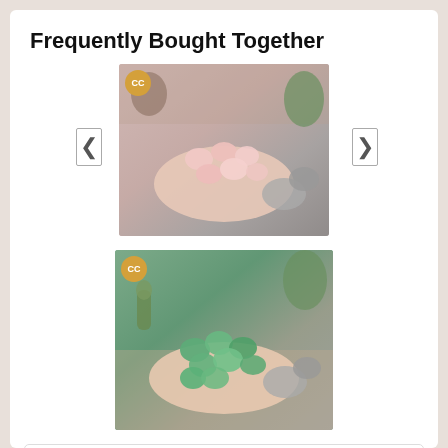Frequently Bought Together
[Figure (photo): Hand holding pink rose quartz tumbled stones with succulents and grey rocks in background]
[Figure (photo): Hand holding green aventurine tumbled stones with succulent, cactus and grey rocks in background]
The Citrine Circle uses cookies to improve your experience on this site. By continuing to use this site you agree to the use of cookies
Accept
This item: Natural Citrine Tumble - Unheated